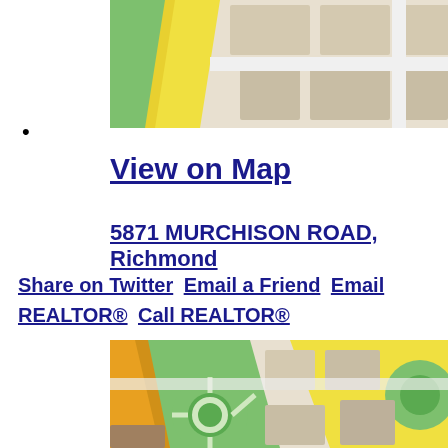[Figure (map): Top portion of a street map showing roads and city blocks with green parks, yellow roads, and beige building blocks.]
•
View on Map
5871 MURCHISON ROAD, Richmond
Share on Twitter  Email a Friend  Email REALTOR®  Call REALTOR®
[Figure (map): Bottom portion of a street map showing a roundabout intersection with green park areas, yellow roads (including a curved orange/yellow road), and beige building blocks.]